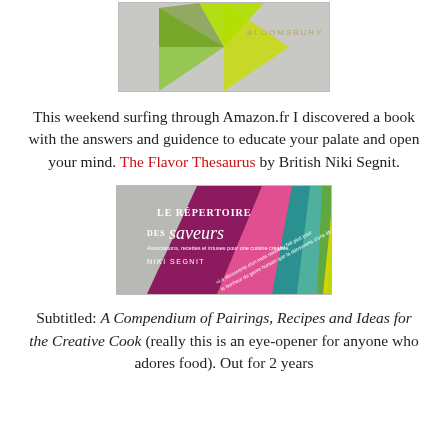[Figure (photo): Top portion of book cover for The Flavor Thesaurus by Niki Segnit (English edition), showing a geometric design with green and yellow triangular shapes on a gray background with 'BLOOMSBURY' text]
This weekend surfing through Amazon.fr I discovered a book with the answers and guidence to educate your palate and open your mind. The Flavor Thesaurus by British Niki Segnit.
[Figure (photo): Book cover for 'Le répertoire des saveurs' (French edition of The Flavor Thesaurus) by Niki Segnit, featuring a colorful fan/wheel design with magenta, pink, teal, green, and yellow sections on a gray background. Subtitle: 'Associations, recettes et intuses pour une cuisine créative.' with a quote about discovery.]
Subtitled: A Compendium of Pairings, Recipes and Ideas for the Creative Cook (really this is an eye-opener for anyone who adores food). Out for 2 years